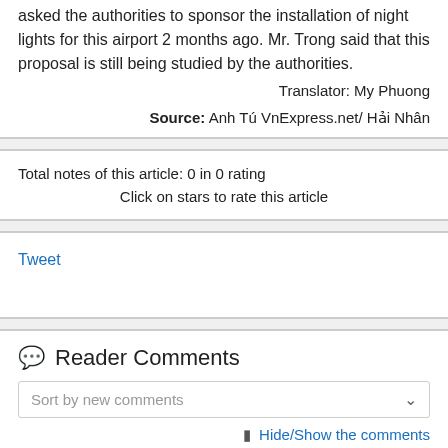asked the authorities to sponsor the installation of night lights for this airport 2 months ago. Mr. Trong said that this proposal is still being studied by the authorities.
Translator: My Phuong
Source: Anh Tú VnExpress.net/ Hải Nhân
Total notes of this article: 0 in 0 rating
Click on stars to rate this article
Tweet
Reader Comments
Sort by new comments
Hide/Show the comments